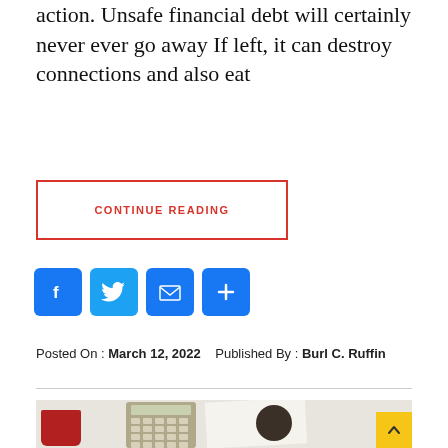action. Unsafe financial debt will certainly never ever go away If left, it can destroy connections and also eat
CONTINUE READING
[Figure (infographic): Social sharing icons: Facebook (blue), Twitter (blue), Email (blue), More/Plus (blue)]
Posted On : March 12, 2022   Published By : Burl C. Ruffin
[Figure (photo): Photo of a calculator, coffee cup, paper with handwritten notes, and a dark round object on a white desk surface, with a yellow back-to-top arrow button in the bottom-right corner.]